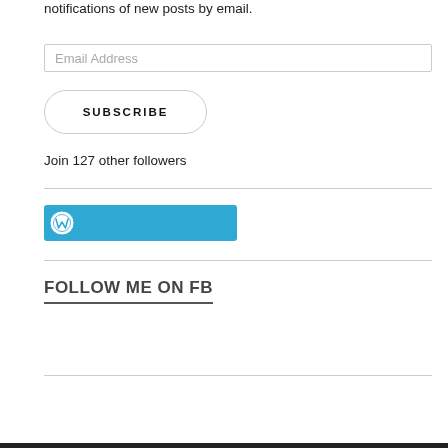notifications of new posts by email.
Email Address
SUBSCRIBE
Join 127 other followers
[Figure (logo): WordPress logo button — teal/blue rectangular button with white WordPress 'W' circle icon on the left]
FOLLOW ME ON FB